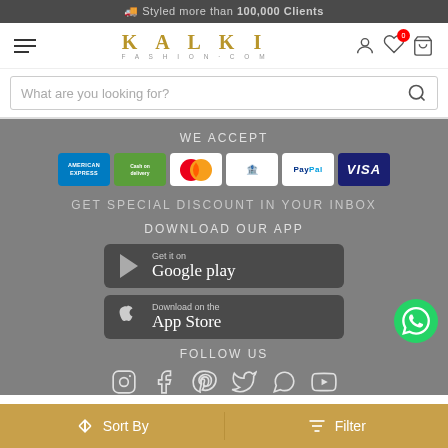🚚 Styled more than 100,000 Clients
[Figure (logo): Kalki Fashion.com logo with hamburger menu and header icons (user, wishlist, cart)]
[Figure (screenshot): Search bar: What are you looking for?]
WE ACCEPT
[Figure (infographic): Payment method icons: American Express, Cash on Delivery, MasterCard, Maestro, PayPal, VISA]
GET SPECIAL DISCOUNT IN YOUR INBOX
DOWNLOAD OUR APP
[Figure (screenshot): Google Play download button]
[Figure (screenshot): App Store download button]
FOLLOW US
[Figure (infographic): Social media icons: Instagram, Facebook, Pinterest, Twitter, WhatsApp, YouTube]
Sort By   Filter